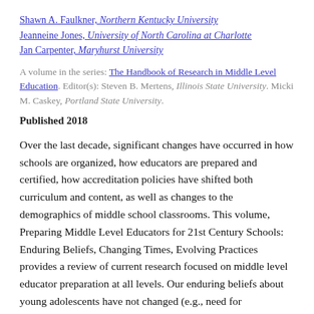Shawn A. Faulkner, Northern Kentucky University
Jeanneine Jones, University of North Carolina at Charlotte
Jan Carpenter, Maryhurst University
A volume in the series: The Handbook of Research in Middle Level Education. Editor(s): Steven B. Mertens, Illinois State University. Micki M. Caskey, Portland State University.
Published 2018
Over the last decade, significant changes have occurred in how schools are organized, how educators are prepared and certified, how accreditation policies have shifted both curriculum and content, as well as changes to the demographics of middle school classrooms. This volume, Preparing Middle Level Educators for 21st Century Schools: Enduring Beliefs, Changing Times, Evolving Practices provides a review of current research focused on middle level educator preparation at all levels. Our enduring beliefs about young adolescents have not changed (e.g., need for developmentally responsive instruction, caring adults who understand them and are prepared to teach them, opportunities to explore their interests) but the political and sociocultural climate of schools and schooling has. In